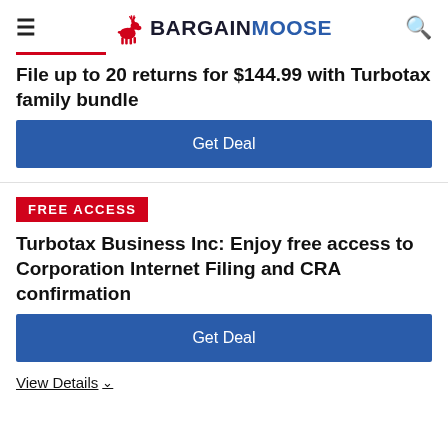BARGAINMOOSE
File up to 20 returns for $144.99 with Turbotax family bundle
Get Deal
FREE ACCESS
Turbotax Business Inc: Enjoy free access to Corporation Internet Filing and CRA confirmation
Get Deal
View Details